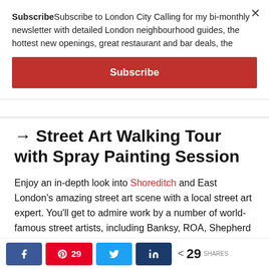SubscribeSubscribe to London City Calling for my bi-monthly newsletter with detailed London neighbourhood guides, the hottest new openings, great restaurant and bar deals, the
Subscribe
→ Street Art Walking Tour with Spray Painting Session
Enjoy an in-depth look into Shoreditch and East London's amazing street art scene with a local street art expert. You'll get to admire work by a number of world-famous street artists, including Banksy, ROA, Shepherd Fairy and more.